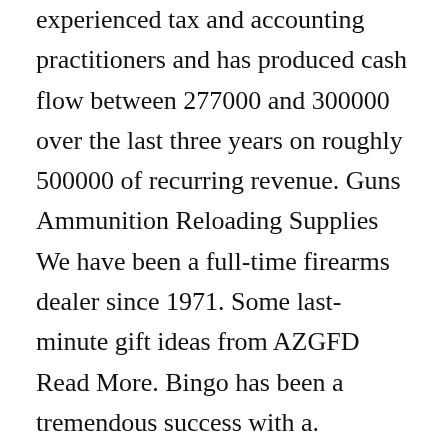experienced tax and accounting practitioners and has produced cash flow between 277000 and 300000 over the last three years on roughly 500000 of recurring revenue. Guns Ammunition Reloading Supplies We have been a full-time firearms dealer since 1971. Some last-minute gift ideas from AZGFD Read More. Bingo has been a tremendous success with a.
From 1993 to 2004 she was a police officer and sergeant with the Tucsoⓧ Airport